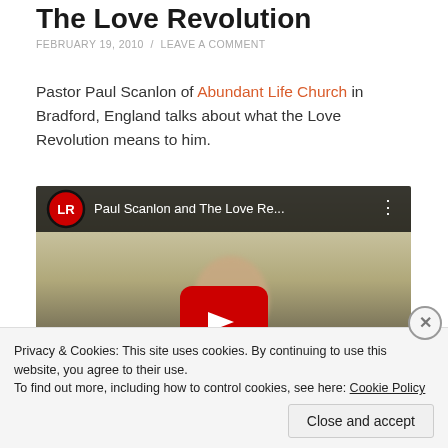The Love Revolution
FEBRUARY 19, 2010 / LEAVE A COMMENT
Pastor Paul Scanlon of Abundant Life Church in Bradford, England talks about what the Love Revolution means to him.
[Figure (screenshot): YouTube video thumbnail showing 'Paul Scanlon and The Love Re...' with red play button and LR channel logo]
Privacy & Cookies: This site uses cookies. By continuing to use this website, you agree to their use.
To find out more, including how to control cookies, see here: Cookie Policy
Close and accept